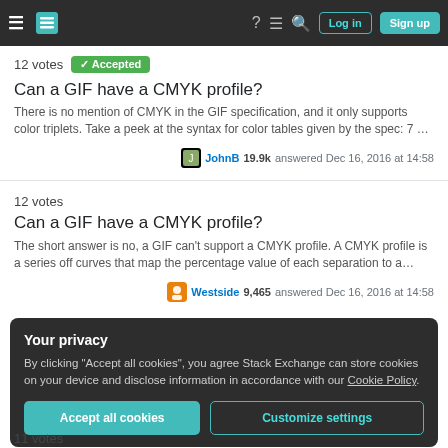Stack Exchange navigation bar with Log in and Sign up buttons
12 votes  ✓ Accepted
Can a GIF have a CMYK profile?
There is no mention of CMYK in the GIF specification, and it only supports color triplets. Take a peek at the syntax for color tables given by the spec: 7 …
JohnB 19.9k answered Dec 16, 2016 at 14:58
12 votes
Can a GIF have a CMYK profile?
The short answer is no, a GIF can't support a CMYK profile. A CMYK profile is a series off curves that map the percentage value of each separation to a…
Westside 9,465 answered Dec 16, 2016 at 14:58
Your privacy
By clicking "Accept all cookies", you agree Stack Exchange can store cookies on your device and disclose information in accordance with our Cookie Policy.
Accept all cookies  Customize settings
11 votes